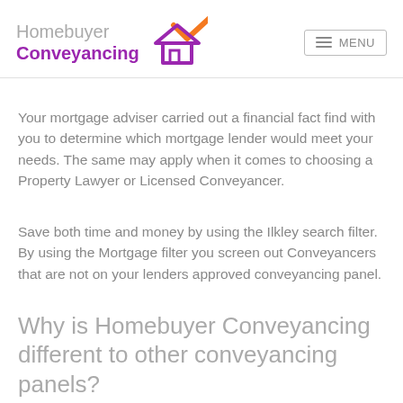[Figure (logo): Homebuyer Conveyancing logo with house and checkmark icon in purple and orange]
Your mortgage adviser carried out a financial fact find with you to determine which mortgage lender would meet your needs. The same may apply when it comes to choosing a Property Lawyer or Licensed Conveyancer.
Save both time and money by using the Ilkley search filter. By using the Mortgage filter you screen out Conveyancers that are not on your lenders approved conveyancing panel.
Why is Homebuyer Conveyancing different to other conveyancing panels?